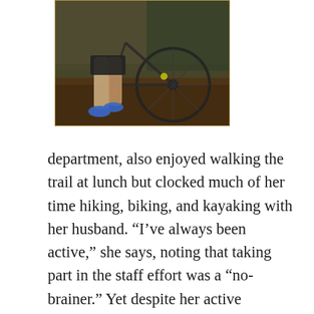[Figure (photo): Photo of a person's legs in athletic wear and blue shoes near a bicycle on a dirt/gravel trail]
department, also enjoyed walking the trail at lunch but clocked much of her time hiking, biking, and kayaking with her husband. “I’ve always been active,” she says, noting that taking part in the staff effort was a “no-brainer.” Yet despite her active lifestyle and good nutritional habits, Tammy’s main challenge has been maintaining a healthy weight.  At the